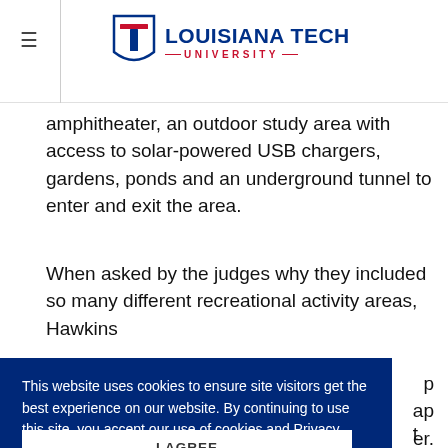Louisiana Tech University
amphitheater, an outdoor study area with access to solar-powered USB chargers, gardens, ponds and an underground tunnel to enter and exit the area.
When asked by the judges why they included so many different recreational activity areas, Hawkins
This website uses cookies to ensure site visitors get the best experience on our website. By continuing to use this site, you accept our use of cookies and Privacy Statement. Learn more
I AGREE
same.